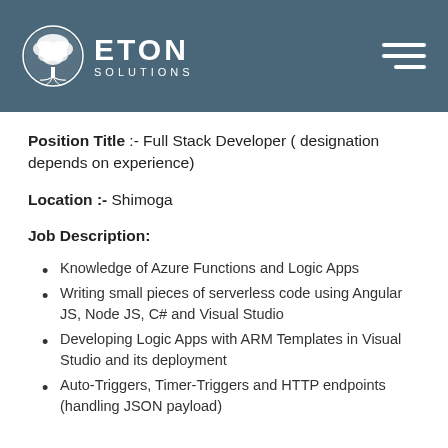Eton Solutions
Position Title :- Full Stack Developer ( designation depends on experience)
Location :- Shimoga
Job Description:
Knowledge of Azure Functions and Logic Apps
Writing small pieces of serverless code using Angular JS, Node JS, C# and Visual Studio
Developing Logic Apps with ARM Templates in Visual Studio and its deployment
Auto-Triggers, Timer-Triggers and HTTP endpoints (handling JSON payload)